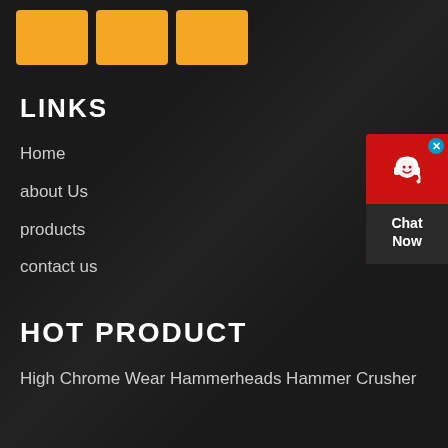[Figure (logo): Three orange/amber rectangular blocks arranged horizontally, serving as a logo or brand mark]
LINKS
Home
about Us
products
contact us
HOT PRODUCT
High Chrome Wear Hammerheads Hammer Crusher
[Figure (illustration): Red chat support widget on right side with headset icon and Chat Now text, plus blue X close button]